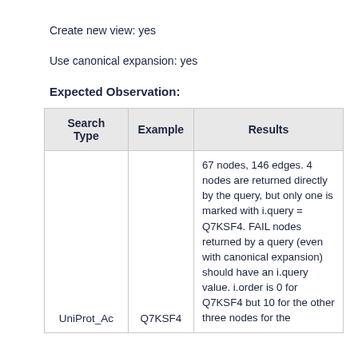Create new view: yes
Use canonical expansion: yes
Expected Observation:
| Search Type | Example | Results |
| --- | --- | --- |
| UniProt_Ac | Q7KSF4 | 67 nodes, 146 edges. 4 nodes are returned directly by the query, but only one is marked with i.query = Q7KSF4. FAIL nodes returned by a query (even with canonical expansion) should have an i.query value. i.order is 0 for Q7KSF4 but 10 for the other three nodes for the... |